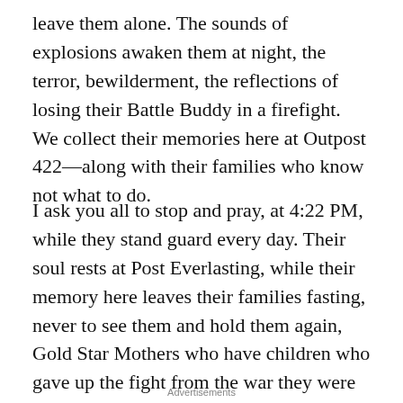leave them alone. The sounds of explosions awaken them at night, the terror, bewilderment, the reflections of losing their Battle Buddy in a firefight. We collect their memories here at Outpost 422—along with their families who know not what to do.
I ask you all to stop and pray, at 4:22 PM, while they stand guard every day. Their soul rests at Post Everlasting, while their memory here leaves their families fasting, never to see them and hold them again, Gold Star Mothers who have children who gave up the fight from the war they were in.
Advertisements